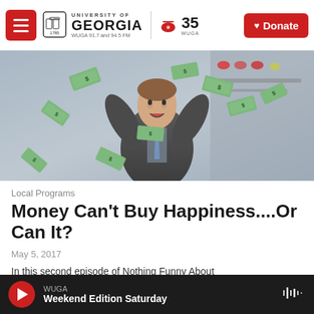University of Georgia WUGA 91.7 and 94.5 FM | 35 WUGA | Donate
[Figure (photo): Man in suit celebrating with money/dollar bills flying around him, arms raised in excitement]
Local Programs
Money Can't Buy Happiness....Or Can It?
May 5, 2017
In this second episode of Nothing Funny About
WUGA | Weekend Edition Saturday